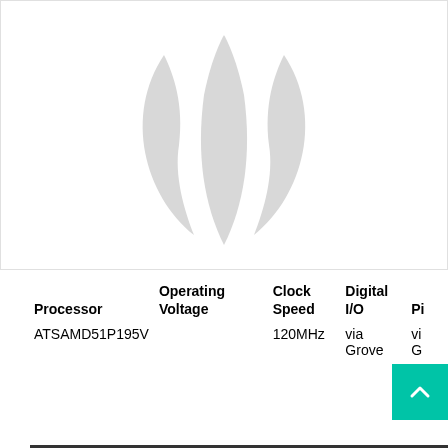[Figure (logo): Seeed Studio logo — three curved leaf/petal shapes in light gray arranged in a circular pattern on a white background]
| Processor | Operating Voltage | Clock Speed | Digital I/O | Pi... |
| --- | --- | --- | --- | --- |
| ATSAMD51P195V |  | 120MHz | via Grove | vi G |